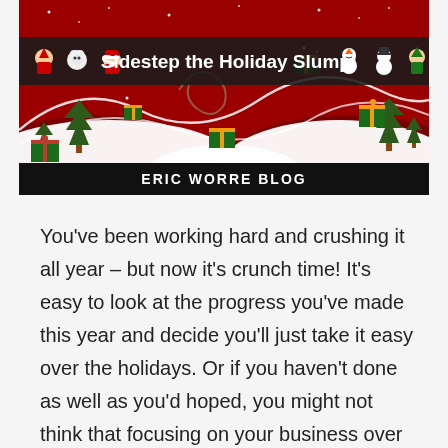[Figure (illustration): Holiday-themed blog banner with red and dark background, white decorative swirls and snow-covered hills, Christmas trees, gift boxes, and holiday character icons (elf, polar bear, Santa, snowman, snowman, elf). Text reads 'Sidestep the Holiday Slump!' with 'ERIC WORRE BLOG' in a black bar at the bottom.]
You've been working hard and crushing it all year – but now it's crunch time! It's easy to look at the progress you've made this year and decide you'll just take it easy over the holidays. Or if you haven't done as well as you'd hoped, you might not think that focusing on your business over the holidays is going to turn